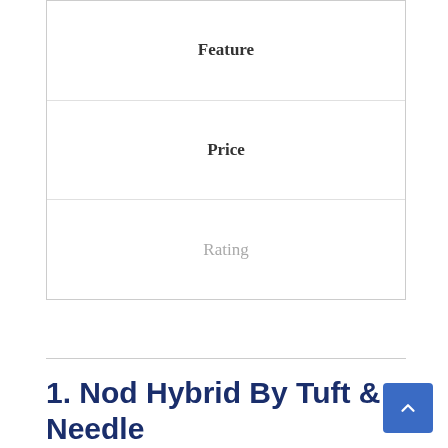| Feature | Price | Rating |
| --- | --- | --- |
1. Nod Hybrid By Tuft & Needle
The Nod Hybrid by Tuft & Needle is a perfect bridge between a comfortable foam mattress and a firm innerspring mattress. It provides a high level of comfort with ultimate support
[Figure (photo): Mattress product image, light gray/beige background]